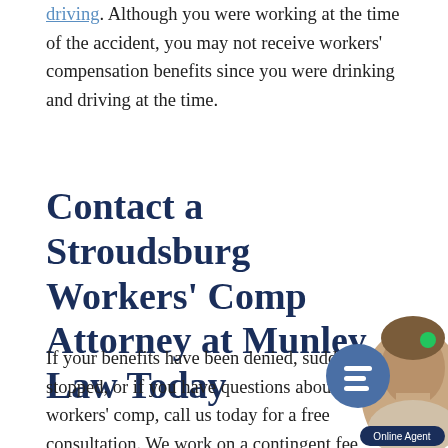driving. Although you were working at the time of the accident, you may not receive workers' compensation benefits since you were drinking and driving at the time.
Contact a Stroudsburg Workers' Comp Attorney at Munley Law Today
If your benefits have been denied, suddenly stopped, or if you have questions about workers' comp, call us today for a free consultation. We work on a contingent fee basis, so we will not collect a fee unless we obtain your benefits
[Figure (illustration): Online chat agent widget showing a man's photo with a circular chat button and 'Online Agent' label]